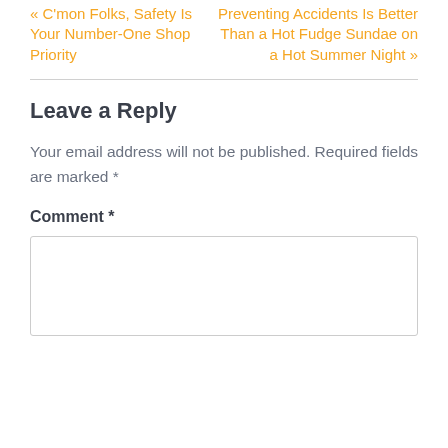« C'mon Folks, Safety Is Your Number-One Shop Priority
Preventing Accidents Is Better Than a Hot Fudge Sundae on a Hot Summer Night »
Leave a Reply
Your email address will not be published. Required fields are marked *
Comment *